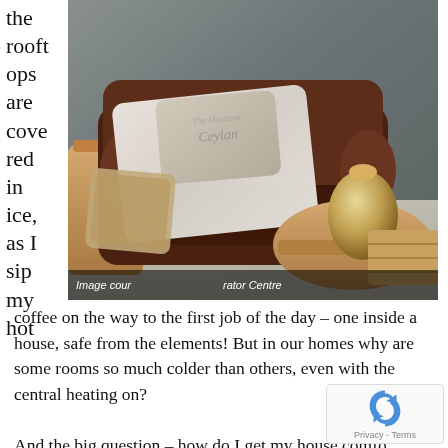the rooftops are covered in ice, as I sip my hot
[Figure (photo): Interior photo of a dark leather chesterfield sofa with decorative pillows, a cozy knit blanket draped over it, a round wooden coffee table with a metallic vase, and a side table. Caption reads 'Image courtesy [of] rator Centre']
coffee on the way to the first job of the day – one inside a house, safe from the elements! But in our homes why are some rooms so much colder than others, even with the central heating on?

And the big question – how do I get my house comfo[rtable] all year 'round without the huge electricity bill?